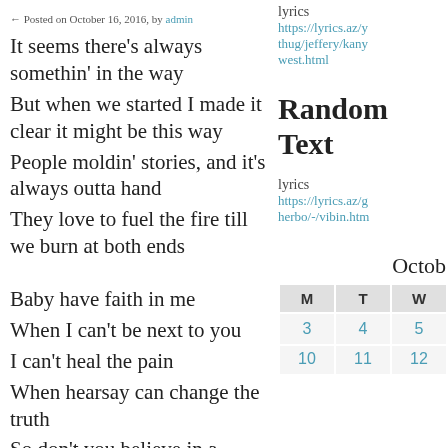Posted on October 16, 2016, by admin
It seems there's always somethin' in the way
But when we started I made it clear it might be this way
People moldin' stories, and it's always outta hand
They love to fuel the fire till we burn at both ends
lyrics https://lyrics.az/y thug/jeffery/kany west.html
Random Text
lyrics https://lyrics.az/g herbo/-/vibin.htm
Baby have faith in me
When I can't be next to you
I can't heal the pain
When hearsay can change the truth
So don't you believe in a single thing
Octob
| M | T | W |
| --- | --- | --- |
| 3 | 4 | 5 |
| 10 | 11 | 12 |